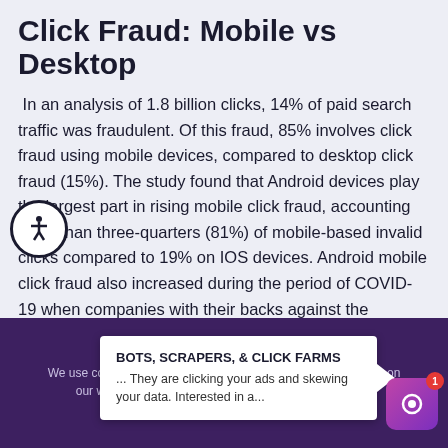Click Fraud: Mobile vs Desktop
In an analysis of 1.8 billion clicks, 14% of paid search traffic was fraudulent. Of this fraud, 85% involves click fraud using mobile devices, compared to desktop click fraud (15%). The study found that Android devices play the largest part in rising mobile click fraud, accounting more than three-quarters (81%) of mobile-based invalid clicks compared to 19% on IOS devices. Android mobile click fraud also increased during the period of COVID-19 when companies with their backs against the
We use cookies to ensure that we give you the best experience on our website. y... e that you
BOTS, SCRAPERS, & CLICK FARMS
... They are clicking your ads and skewing your data. Interested in a...